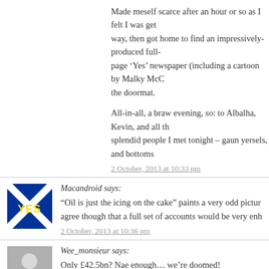Made meself scarce after an hour or so as I felt I was get way, then got home to find an impressively-produced full-page ‘Yes’ newspaper (including a cartoon by Malky McC the doormat.
All-in-all, a braw evening, so: to Albalha, Kevin, and all th splendid people I met tonight – gaun yersels, and bottoms
2 October, 2013 at 10:33 pm
Macandroid says:
“Oil is just the icing on the cake” paints a very odd pictur agree though that a full set of accounts would be very enh
2 October, 2013 at 10:36 pm
Wee_monsieur says:
Only £42.5bn? Nae enough… we’re doomed!
2 October, 2013 at 10:39 pm
Erchie says:
I posted the time on the other thread! Typed up th